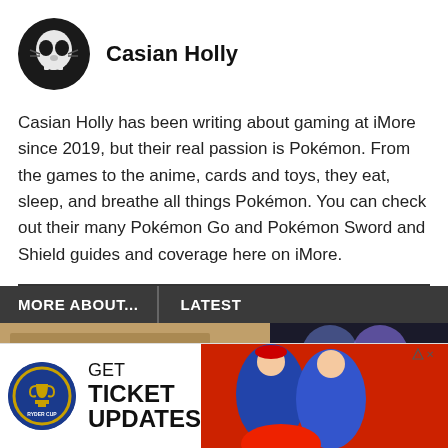[Figure (illustration): Circular avatar image of Casian Holly showing a skull-themed face paint or illustration on dark background]
Casian Holly
Casian Holly has been writing about gaming at iMore since 2019, but their real passion is Pokémon. From the games to the anime, cards and toys, they eat, sleep, and breathe all things Pokémon. You can check out their many Pokémon Go and Pokémon Sword and Shield guides and coverage here on iMore.
MORE ABOUT...
LATEST
[Figure (photo): Thumbnail photo on left side below MORE ABOUT tab]
[Figure (photo): Thumbnail photo on right side below LATEST tab]
[Figure (photo): Advertisement banner: GET TICKET UPDATES - Ryder Cup with golfer photos]